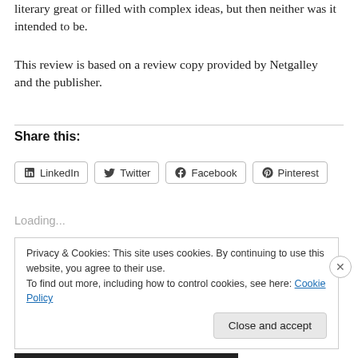literary great or filled with complex ideas, but then neither was it intended to be.
This review is based on a review copy provided by Netgalley and the publisher.
Share this:
LinkedIn  Twitter  Facebook  Pinterest
Loading...
Privacy & Cookies: This site uses cookies. By continuing to use this website, you agree to their use. To find out more, including how to control cookies, see here: Cookie Policy
Close and accept